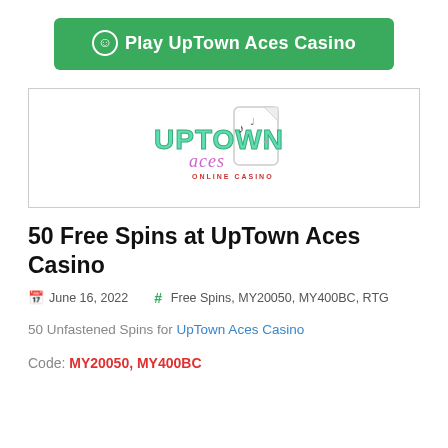Play UpTown Aces Casino
[Figure (logo): UpTown Aces Online Casino logo with stylized text and playing card graphics]
50 Free Spins at UpTown Aces Casino
June 16, 2022   Free Spins, MY20050, MY400BC, RTG
50 Unfastened Spins for UpTown Aces Casino
Code: MY20050, MY400BC